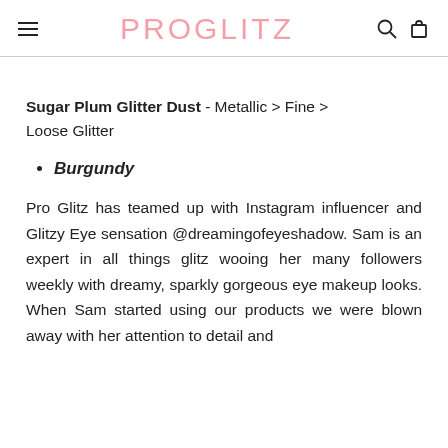PROGLITZ
Sugar Plum Glitter Dust - Metallic > Fine > Loose Glitter
Burgundy
Pro Glitz has teamed up with Instagram influencer and Glitzy Eye sensation @dreamingofeyeshadow. Sam is an expert in all things glitz wooing her many followers weekly with dreamy, sparkly gorgeous eye makeup looks. When Sam started using our products we were blown away with her attention to detail and